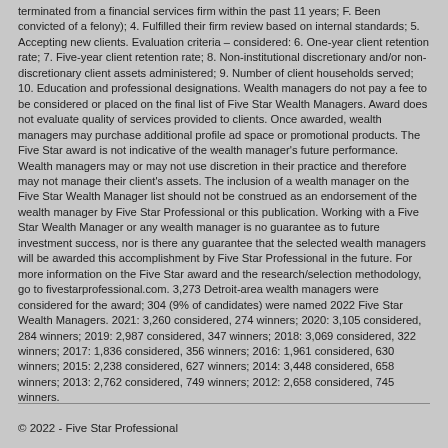terminated from a financial services firm within the past 11 years; F. Been convicted of a felony); 4. Fulfilled their firm review based on internal standards; 5. Accepting new clients. Evaluation criteria – considered: 6. One-year client retention rate; 7. Five-year client retention rate; 8. Non-institutional discretionary and/or non-discretionary client assets administered; 9. Number of client households served; 10. Education and professional designations. Wealth managers do not pay a fee to be considered or placed on the final list of Five Star Wealth Managers. Award does not evaluate quality of services provided to clients. Once awarded, wealth managers may purchase additional profile ad space or promotional products. The Five Star award is not indicative of the wealth manager's future performance. Wealth managers may or may not use discretion in their practice and therefore may not manage their client's assets. The inclusion of a wealth manager on the Five Star Wealth Manager list should not be construed as an endorsement of the wealth manager by Five Star Professional or this publication. Working with a Five Star Wealth Manager or any wealth manager is no guarantee as to future investment success, nor is there any guarantee that the selected wealth managers will be awarded this accomplishment by Five Star Professional in the future. For more information on the Five Star award and the research/selection methodology, go to fivestarprofessional.com. 3,273 Detroit-area wealth managers were considered for the award; 304 (9% of candidates) were named 2022 Five Star Wealth Managers. 2021: 3,260 considered, 274 winners; 2020: 3,105 considered, 284 winners; 2019: 2,987 considered, 347 winners; 2018: 3,069 considered, 322 winners; 2017: 1,836 considered, 356 winners; 2016: 1,961 considered, 630 winners; 2015: 2,238 considered, 627 winners; 2014: 3,448 considered, 658 winners; 2013: 2,762 considered, 749 winners; 2012: 2,658 considered, 745 winners.
© 2022 - Five Star Professional